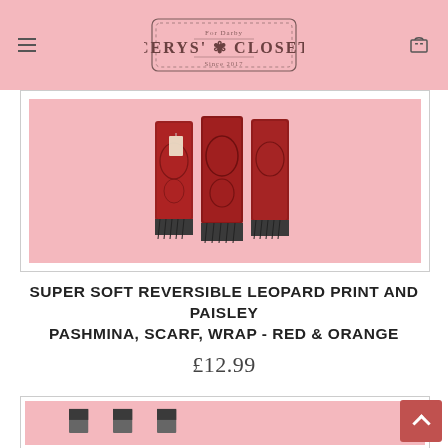Cerys' Closet
[Figure (photo): Product photo of red and orange leopard print and paisley pashmina scarves, folded and stacked, shown against a pink background inside a white bordered product card.]
SUPER SOFT REVERSIBLE LEOPARD PRINT AND PAISLEY PASHMINA, SCARF, WRAP - RED & ORANGE
£12.99
[Figure (photo): Second product card showing the bottom portion of another pashmina product image with pink background, partially visible.]